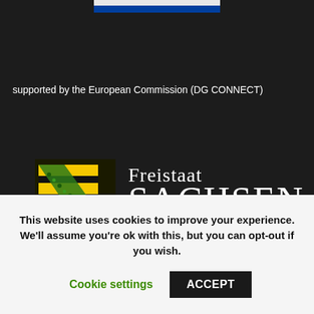[Figure (logo): Top navigation bar with white and blue horizontal stripes, centered at top]
supported by the European Commission (DG CONNECT)
[Figure (logo): Freistaat Sachsen logo: Saxon coat of arms (black and yellow horizontal stripes with green diagonal stripe) alongside text 'Freistaat SACHSEN' in white serif font on dark background]
This website uses cookies to improve your experience. We'll assume you're ok with this, but you can opt-out if you wish.
Cookie settings
ACCEPT